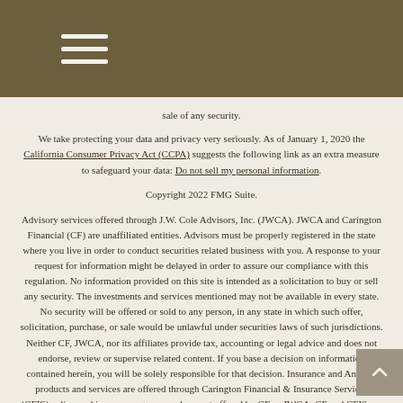Navigation menu icon (hamburger)
sale of any security.
We take protecting your data and privacy very seriously. As of January 1, 2020 the California Consumer Privacy Act (CCPA) suggests the following link as an extra measure to safeguard your data: Do not sell my personal information.
Copyright 2022 FMG Suite.
Advisory services offered through J.W. Cole Advisors, Inc. (JWCA). JWCA and Carington Financial (CF) are unaffiliated entities. Advisors must be properly registered in the state where you live in order to conduct securities related business with you. A response to your request for information might be delayed in order to assure our compliance with this regulation. No information provided on this site is intended as a solicitation to buy or sell any security. The investments and services mentioned may not be available in every state. No security will be offered or sold to any person, in any state in which such offer, solicitation, purchase, or sale would be unlawful under securities laws of such jurisdictions. Neither CF, JWCA, nor its affiliates provide tax, accounting or legal advice and does not endorse, review or supervise related content. If you base a decision on information contained herein, you will be solely responsible for that decision. Insurance and Annuity products and services are offered through Carington Financial & Insurance Services (CFIS), a licensed insurance agency, and are not offered by CF or JWCA. CF and CFIS are dba's of Carington, a California corporation.